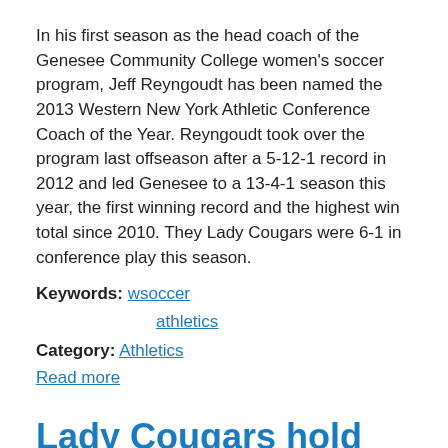In his first season as the head coach of the Genesee Community College women's soccer program, Jeff Reyngoudt has been named the 2013 Western New York Athletic Conference Coach of the Year. Reyngoudt took over the program last offseason after a 5-12-1 record in 2012 and led Genesee to a 13-4-1 season this year, the first winning record and the highest win total since 2010. They Lady Cougars were 6-1 in conference play this season.
Keywords: wsoccer, athletics
Category: Athletics
Read more
Lady Cougars hold on in Region III Semi's
Hosting a regional playoff game for the first time since 2010, the Genesee Community College women's soccer team made the most of home field advantage on Tuesday night and defeated visiting Hudson Valley Community College, 2-1.